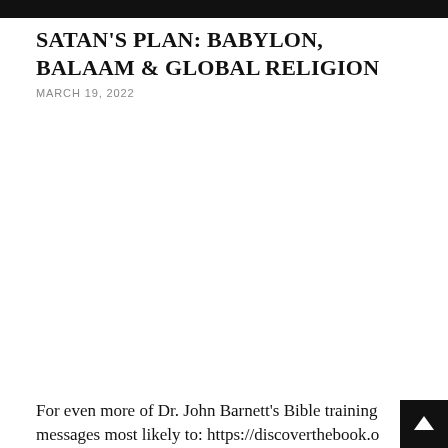SATAN'S PLAN: BABYLON, BALAAM & GLOBAL RELIGION
MARCH 19, 2022
For even more of Dr. John Barnett's Bible training messages most likely to: https://discoverthebook.o